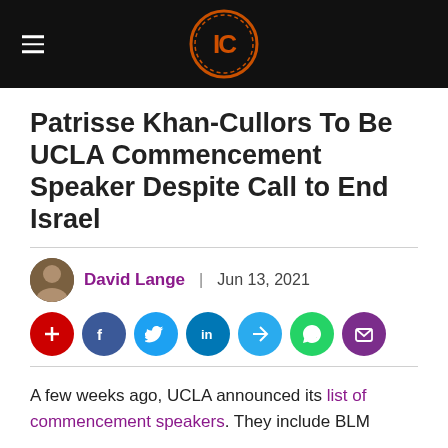IC (Israelly Cool) logo and navigation header
Patrisse Khan-Cullors To Be UCLA Commencement Speaker Despite Call to End Israel
David Lange | Jun 13, 2021
A few weeks ago, UCLA announced its list of commencement speakers. They include BLM